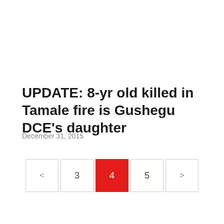UPDATE: 8-yr old killed in Tamale fire is Gushegu DCE's daughter
December 31, 2015